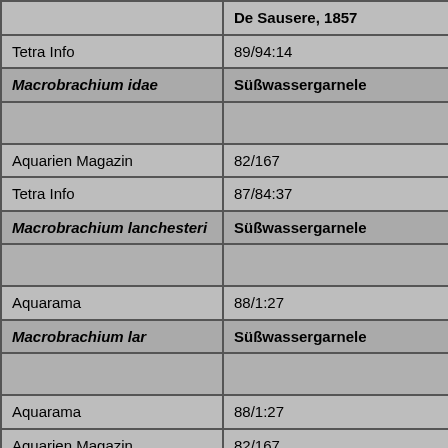|  | De Sausere, 1857 |
| Tetra Info | 89/94:14 |
| Macrobrachium idae | Süßwassergarnele |
|  |  |
| Aquarien Magazin | 82/167 |
| Tetra Info | 87/84:37 |
| Macrobrachium lanchesteri | Süßwassergarnele |
|  |  |
| Aquarama | 88/1:27 |
| Macrobrachium lar | Süßwassergarnele |
|  |  |
| Aquarama | 88/1:27 |
| Aquarien Magazin | 82/167 |
| DATZ | 91/02 |